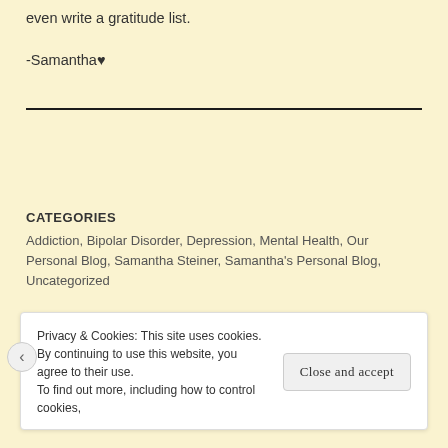even write a gratitude list.
-Samantha♥
CATEGORIES
Addiction, Bipolar Disorder, Depression, Mental Health, Our Personal Blog, Samantha Steiner, Samantha's Personal Blog, Uncategorized
TAGS
Addiction, Alcoholism, Mental Health, Writer
Privacy & Cookies: This site uses cookies. By continuing to use this website, you agree to their use. To find out more, including how to control cookies,
Close and accept